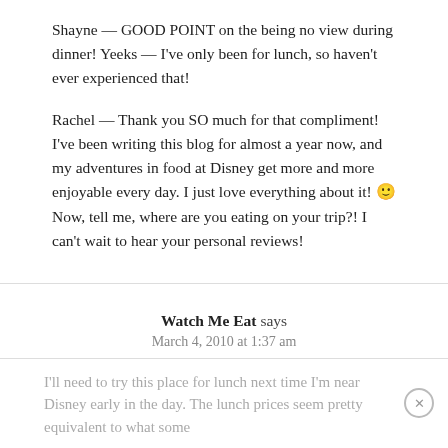Shayne — GOOD POINT on the being no view during dinner! Yeeks — I've only been for lunch, so haven't ever experienced that!

Rachel — Thank you SO much for that compliment! I've been writing this blog for almost a year now, and my adventures in food at Disney get more and more enjoyable every day. I just love everything about it! 🙂 Now, tell me, where are you eating on your trip?! I can't wait to hear your personal reviews!
Watch Me Eat says
March 4, 2010 at 1:37 am
I'll need to try this place for lunch next time I'm near Disney early in the day. The lunch prices seem pretty equivalent to what some